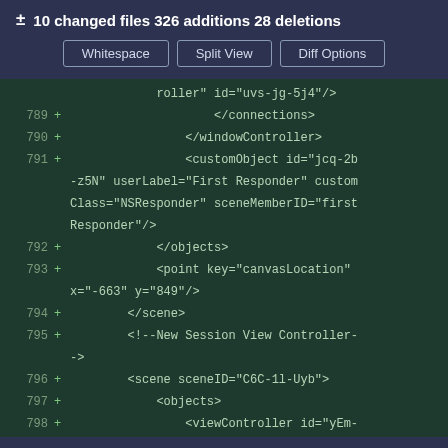± 10 changed files 326 additions 28 deletions
Whitespace | Split View | Diff Options
[Figure (screenshot): Code diff viewer showing XML/storyboard file additions at lines 789-798, with green background and monospace font. Lines show closing tags for connections, windowController, customObject for First Responder, objects, point canvasLocation, scene, a comment for New Session View Controller, scene with sceneID C6C-1l-Uyb, objects, and viewController with NewSessionViewController class.]